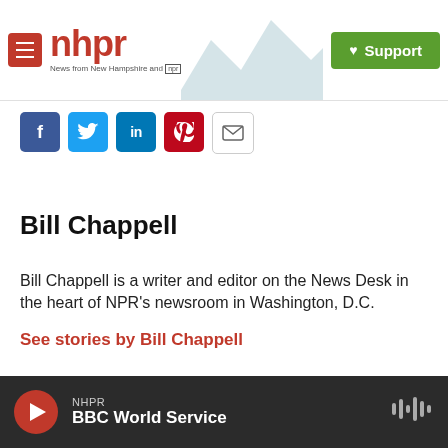nhpr — News from New Hampshire and NPR | Support
[Figure (screenshot): Social sharing icons row: Facebook, Twitter, LinkedIn, Pinterest, Email]
Bill Chappell
Bill Chappell is a writer and editor on the News Desk in the heart of NPR's newsroom in Washington, D.C.
See stories by Bill Chappell
NHPR — BBC World Service